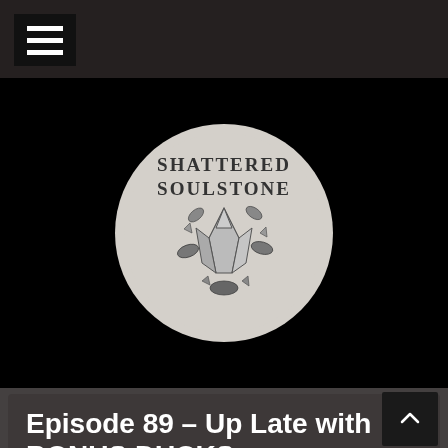Navigation bar with hamburger menu
[Figure (logo): Shattered Soulstone podcast logo — circular badge with illustrated shattered crystal/soulstone and leaves, text reading SHATTERED SOULSTONE]
Episode 89 – Up Late with BONUS DUCKS
Posted on July 14, 2015 / by Jen /
Show notes originally posted by Nevik